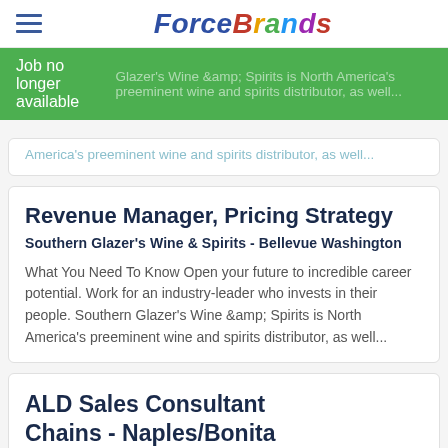ForceBrands
Job no longer available  career potential. Work for an industry-leader who invests in Glazer's Wine &amp; Spirits is North America's preeminent wine and spirits distributor, as well...
Revenue Manager, Pricing Strategy
Southern Glazer's Wine & Spirits - Bellevue Washington
What You Need To Know Open your future to incredible career potential. Work for an industry-leader who invests in their people. Southern Glazer's Wine &amp; Spirits is North America's preeminent wine and spirits distributor, as well...
ALD Sales Consultant Chains - Naples/Bonita Springs/Marco